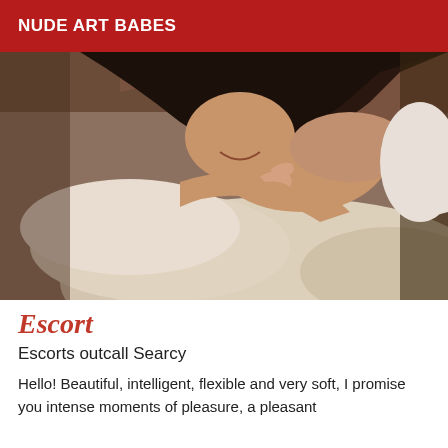NUDE ART BABES
[Figure (photo): A woman with dark hair lying on soft white/beige pillows on a bed, smiling, partially unclothed, photographed in a dimly lit room.]
Escort
Escorts outcall Searcy
Hello! Beautiful, intelligent, flexible and very soft, I promise you intense moments of pleasure, a pleasant